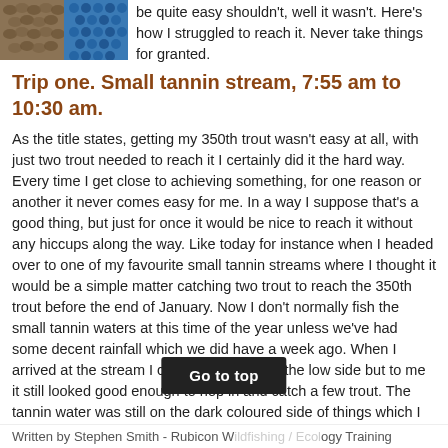[Figure (photo): Two small photos side by side: one showing a textured surface resembling fish scales or snake skin in brown/tan tones, and one showing a blue dotted/bubbled pattern, likely water or fishing-related imagery.]
be quite easy shouldn't, well it wasn't. Here's how I struggled to reach it. Never take things for granted.
Trip one. Small tannin stream, 7:55 am to 10:30 am.
As the title states, getting my 350th trout wasn't easy at all, with just two trout needed to reach it I certainly did it the hard way. Every time I get close to achieving something, for one reason or another it never comes easy for me. In a way I suppose that's a good thing, but just for once it would be nice to reach it without any hiccups along the way. Like today for instance when I headed over to one of my favourite small tannin streams where I thought it would be a simple matter catching two trout to reach the 350th trout before the end of January. Now I don't normally fish the small tannin waters at this time of the year unless we've had some decent rainfall which we did have a week ago. When I arrived at the stream I could see it was on the low side but to me it still looked good enough to hop in and catch a few trout. The tannin water was still on the dark coloured side of things which I felt would be in my favour so I started the session off with a small #00 copper Aglia Mouche Rouge inline spinner.
Written by Stephen Smith - Rubicon W... logy Training